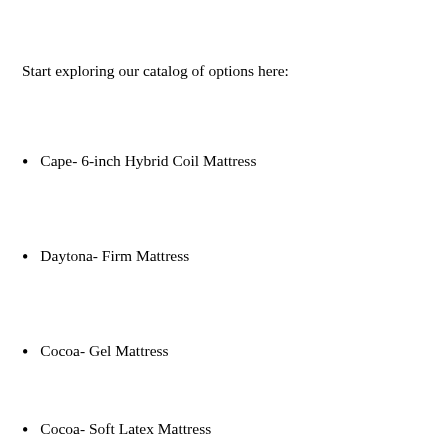Start exploring our catalog of options here:
Cape- 6-inch Hybrid Coil Mattress
Daytona- Firm Mattress
Cocoa- Gel Mattress
Cocoa- Soft Latex Mattress